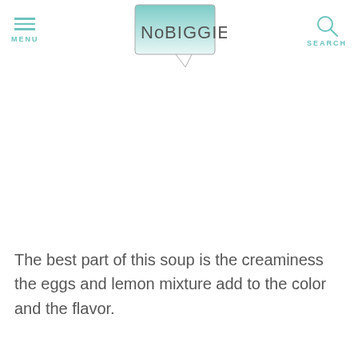MENU | NoBIGGIE | SEARCH
[Figure (logo): NoBIGGIE logo: a speech bubble with teal-to-white gradient fill, containing the text 'NoBIGGIE' in thin grey font, with a triangular tail pointing down-right]
The best part of this soup is the creaminess the eggs and lemon mixture add to the color and the flavor.